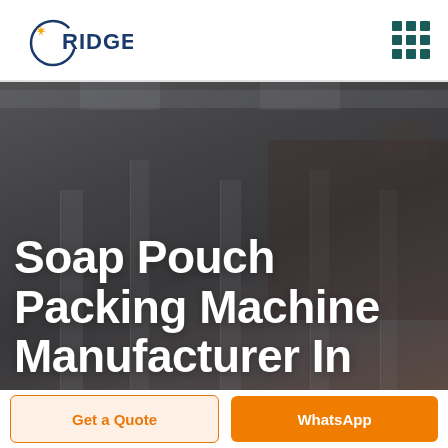[Figure (logo): RIDGE company logo with circular arc and star/plus symbol in navy blue and orange]
[Figure (other): 3x3 grid of dark teal squares representing a hamburger/menu icon]
[Figure (photo): Factory/manufacturing floor interior with machinery, pillars, and industrial equipment, dark overlay]
Soap Pouch Packing Machine Manufacturer In
Get a Quote
WhatsApp